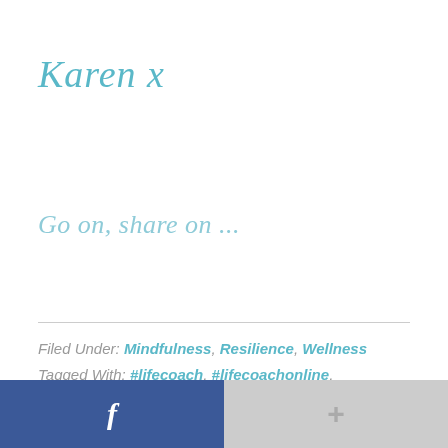Karen x
Go on, share on ...
Filed Under: Mindfulness, Resilience, Wellness
Tagged With: #lifecoach, #lifecoachonline, #loveyourself, #onlinecoach, #personalgrowth, #resiliencestrategies, #selfdevelopment, #workfromhome, mindfulness
[Figure (other): Footer bar with Facebook button (blue, 'f' icon) on left and a grey share/plus button on right]